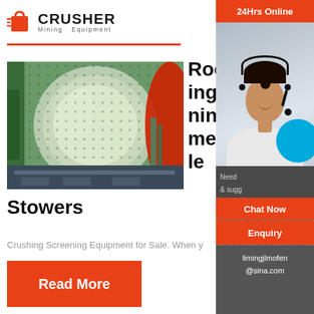CRUSHER Mining Equipment
[Figure (photo): Large cylindrical ball mill with green and red exterior and bolt-pattern drum, industrial mining equipment]
Rock Crushing Screening Equipment for Sale
Stowers
Crushing Screening Equipment for Sale. When y
Read More
[Figure (infographic): 24Hrs Online chat widget with customer service agent photo, Chat Now button, Enquiry link, and email limingjlmofen@sina.com]